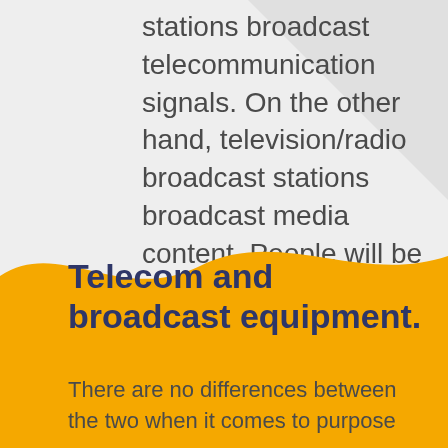stations broadcast telecommunication signals. On the other hand, television/radio broadcast stations broadcast media content. People will be able to grab the signals with appropriate devices and continue to use the service.
[Figure (illustration): Golden/amber wave-shaped background section with decorative gray triangle in upper right]
Telecom and broadcast equipment.
There are no differences between the two when it comes to purpose